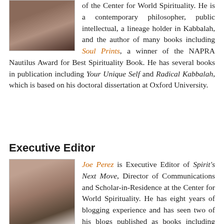of the Center for World Spirituality. He is a contemporary philosopher, public intellectual, a lineage holder in Kabbalah, and the author of many books including Soul Prints, a winner of the NAPRA Nautilus Award for Best Spirituality Book. He has several books in publication including Your Unique Self and Radical Kabbalah, which is based on his doctoral dissertation at Oxford University.
Executive Editor
[Figure (photo): Headshot of Joe Perez, a bald man with a beard, wearing a light-colored shirt.]
Joe Perez is Executive Editor of Spirit's Next Move, Director of Communications and Scholar-in-Residence at the Center for World Spirituality. He has eight years of blogging experience and has seen two of his blogs published as books including Soulfully Gay, a pioneering Integral Spirituality memoir. He is an Honors graduate of Harvard University, has studied at The Divinity School at The University of Chicago, and holds a certificate in Integral Leadership from